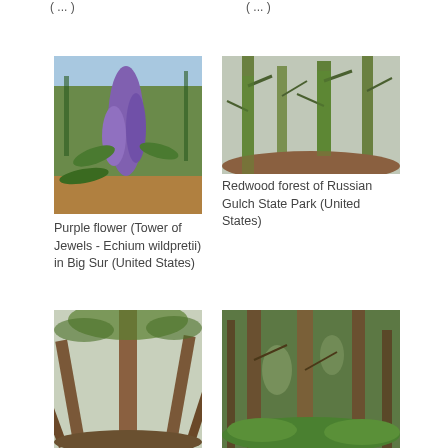( ... )
( ... )
[Figure (photo): Purple flower (Tower of Jewels - Echium wildpretii) in Big Sur, United States]
Purple flower (Tower of Jewels - Echium wildpretii) in Big Sur (United States)
[Figure (photo): Redwood forest of Russian Gulch State Park, United States]
Redwood forest of Russian Gulch State Park (United States)
[Figure (photo): Redwood forest looking upward, United States]
[Figure (photo): Redwood forest understory, United States]